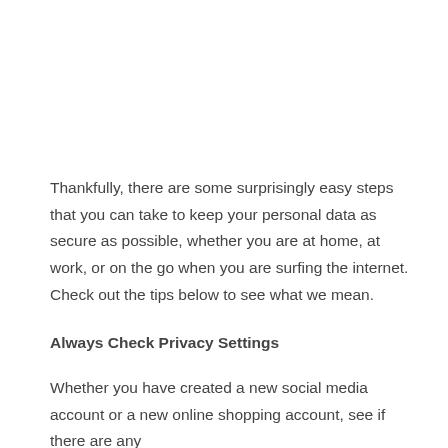Thankfully, there are some surprisingly easy steps that you can take to keep your personal data as secure as possible, whether you are at home, at work, or on the go when you are surfing the internet. Check out the tips below to see what we mean.
Always Check Privacy Settings
Whether you have created a new social media account or a new online shopping account, see if there are any